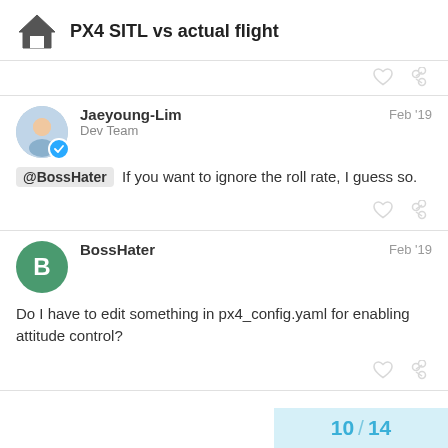PX4 SITL vs actual flight
Jaeyoung-Lim  Feb '19
Dev Team
@BossHater If you want to ignore the roll rate, I guess so.
BossHater  Feb '19
Do I have to edit something in px4_config.yaml for enabling attitude control?
10 / 14